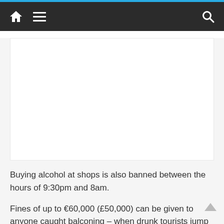Navigation bar with home, menu, and search icons
[Figure (other): Advertisement placeholder area (white rectangle)]
Buying alcohol at shops is also banned between the hours of 9:30pm and 8am.
Fines of up to €60,000 (£50,000) can be given to anyone caught balconing – when drunk tourists jump between balconies in resorts – or anyone advertising